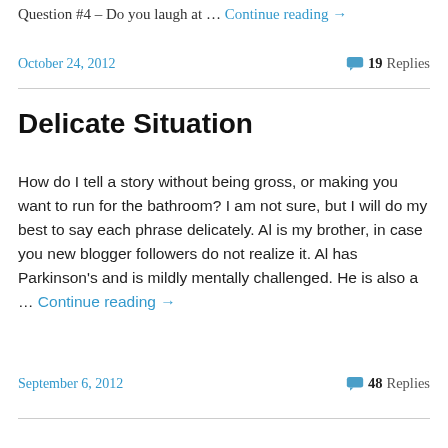Question #4 – Do you laugh at … Continue reading →
October 24, 2012   19 Replies
Delicate Situation
How do I tell a story without being gross, or making you want to run for the bathroom? I am not sure, but I will do my best to say each phrase delicately. Al is my brother, in case you new blogger followers do not realize it. Al has Parkinson's and is mildly mentally challenged. He is also a … Continue reading →
September 6, 2012   48 Replies